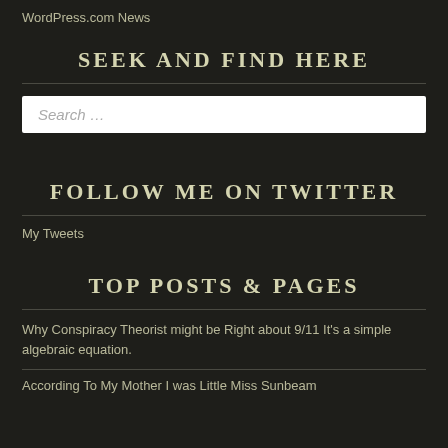WordPress.com News
SEEK AND FIND HERE
Search …
FOLLOW ME ON TWITTER
My Tweets
TOP POSTS & PAGES
Why Conspiracy Theorist might be Right about 9/11 It's a simple algebraic equation.
According To My Mother I was Little Miss Sunbeam